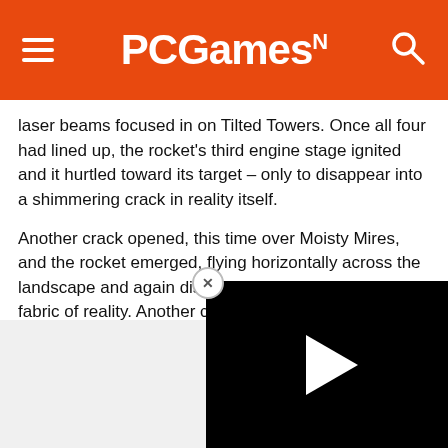PCGamesN
laser beams focused in on Tilted Towers. Once all four had lined up, the rocket's third engine stage ignited and it hurtled toward its target – only to disappear into a shimmering crack in reality itself.
Another crack opened, this time over Moisty Mires, and the rocket emerged, flying horizontally across the landscape and again disappearing into a crack in the fabric of reality. Another crack opened near Loot Lake, and the rocket burst through at high speed, this time back into the night sky, only to smashed a massive crack in… re
[Figure (screenshot): Black video player overlay with white play button triangle and close X button]